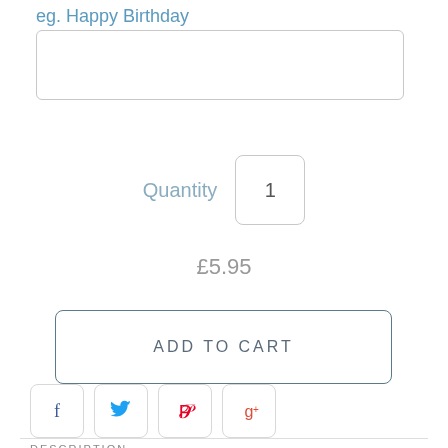eg. Happy Birthday
[Figure (screenshot): Text input field (empty, with rounded border)]
Quantity  1
£5.95
ADD TO CART
[Figure (infographic): Social share buttons: Facebook (f), Twitter bird, Pinterest (P), Google+ (g+)]
DESCRIPTION